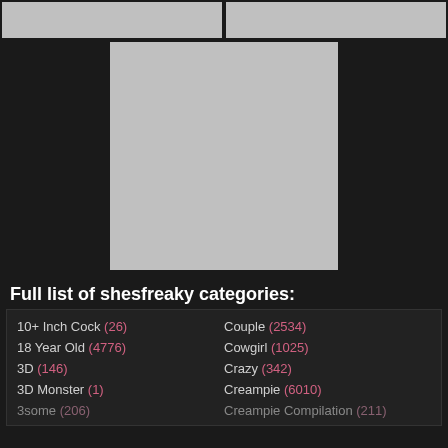[Figure (photo): Two gray placeholder thumbnail images side by side at top]
[Figure (photo): Large gray placeholder thumbnail image in the center]
Full list of shesfreaky categories:
10+ Inch Cock (26)   Couple (2534)
18 Year Old (4776)   Cowgirl (1025)
3D (146)   Crazy (342)
3D Monster (1)   Creampie (6010)
3some (206)   Creampie Compilation (211)